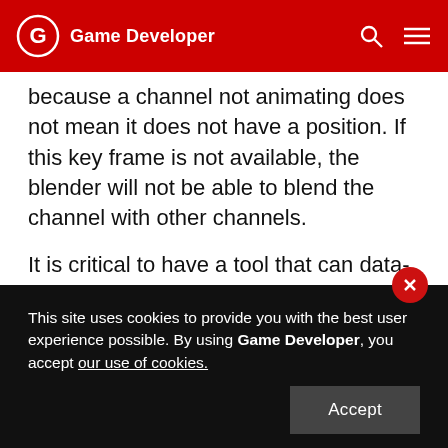Game Developer
because a channel not animating does not mean it does not have a position. If this key frame is not available, the blender will not be able to blend the channel with other channels.
It is critical to have a tool that can data-mine animation size. The MechWarrior engine provides an animation viewer that can open up lists of animations. This tool reports the total size of the animation set and can dig down into each animation. Inside each animation, the tool reports exact details of the animation, including key frame
This site uses cookies to provide you with the best user experience possible. By using Game Developer, you accept our use of cookies.